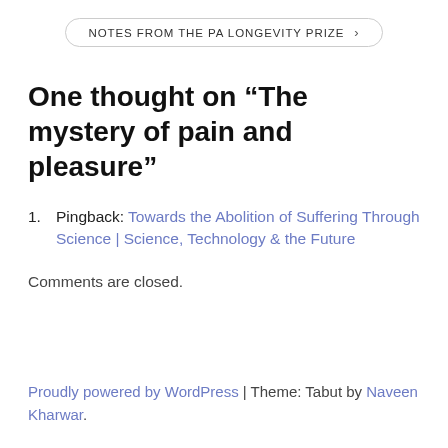NOTES FROM THE PA LONGEVITY PRIZE >
One thought on “The mystery of pain and pleasure”
Pingback: Towards the Abolition of Suffering Through Science | Science, Technology & the Future
Comments are closed.
Proudly powered by WordPress | Theme: Tabut by Naveen Kharwar.